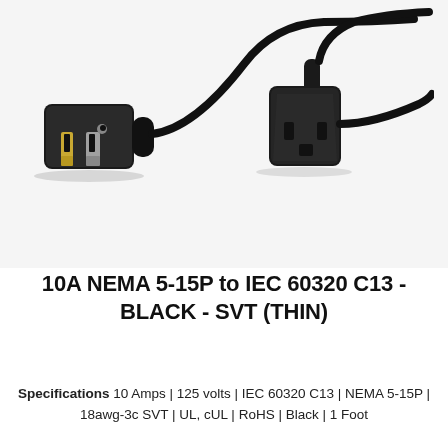[Figure (photo): Photo of a black power cable with NEMA 5-15P plug on the left and IEC 60320 C13 connector on the right, connected by a black SVT cable]
10A NEMA 5-15P to IEC 60320 C13 - BLACK - SVT (THIN)
Specifications 10 Amps | 125 volts | IEC 60320 C13 | NEMA 5-15P | 18awg-3c SVT | UL, cUL | RoHS | Black | 1 Foot